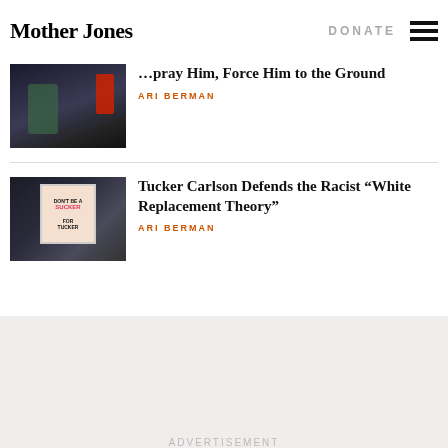Mother Jones
DONATE
Spray Him, Force Him to the Ground
ARI BERMAN
Tucker Carlson Defends the Racist “White Replacement Theory”
ARI BERMAN
ADVERTISEMENT